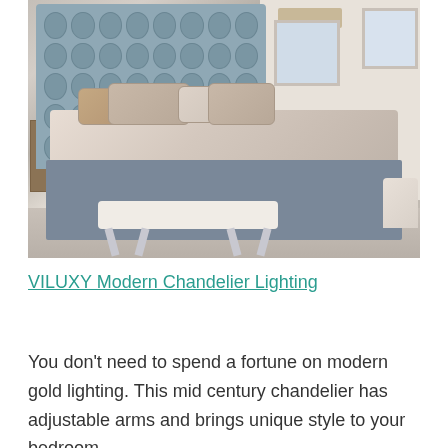[Figure (photo): A luxury bedroom with a tall tufted blue/grey upholstered headboard, beige/blush bedding with multiple pillows, a fluffy white bench at the foot of the bed with acrylic/lucite legs, a wood nightstand, grey carpet, neutral walls with windows and roller blinds.]
VILUXY Modern Chandelier Lighting
You don't need to spend a fortune on modern gold lighting. This mid century chandelier has adjustable arms and brings unique style to your bedroom